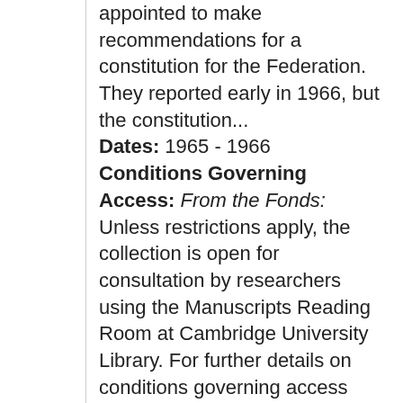appointed to make recommendations for a constitution for the Federation. They reported early in 1966, but the constitution...
Dates: 1965 - 1966
Conditions Governing Access: From the Fonds: Unless restrictions apply, the collection is open for consultation by researchers using the Manuscripts Reading Room at Cambridge University Library. For further details on conditions governing access please contact mss@lib.cam.ac.uk. Information about opening hours and obtaining a Cambridge